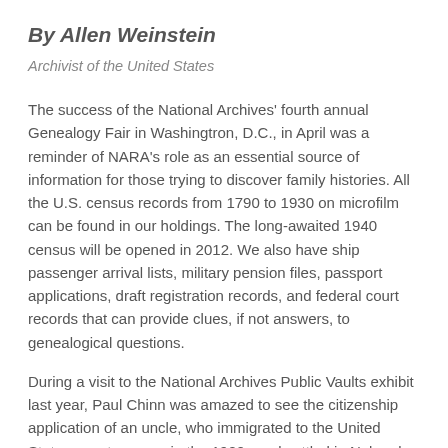By Allen Weinstein
Archivist of the United States
The success of the National Archives' fourth annual Genealogy Fair in Washingtron, D.C., in April was a reminder of NARA's role as an essential source of information for those trying to discover family histories. All the U.S. census records from 1790 to 1930 on microfilm can be found in our holdings. The long-awaited 1940 census will be opened in 2012. We also have ship passenger arrival lists, military pension files, passport applications, draft registration records, and federal court records that can provide clues, if not answers, to genealogical questions.
During a visit to the National Archives Public Vaults exhibit last year, Paul Chinn was amazed to see the citizenship application of an uncle, who immigrated to the United States as a teenager in the 1920s and settled in Nebraska. He contacted relatives, and several came to Washington to see